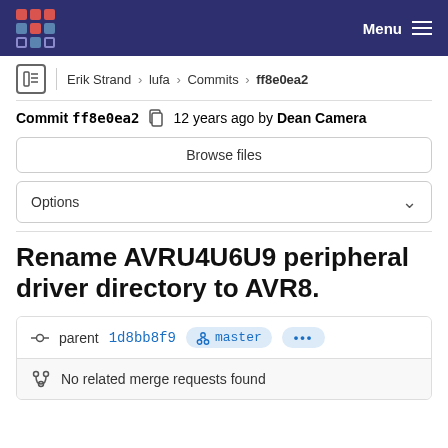Menu
Erik Strand > lufa > Commits > ff8e0ea2
Commit ff8e0ea2  12 years ago by Dean Camera
Browse files
Options
Rename AVRU4U6U9 peripheral driver directory to AVR8.
parent 1d8bb8f9  master  ...
No related merge requests found